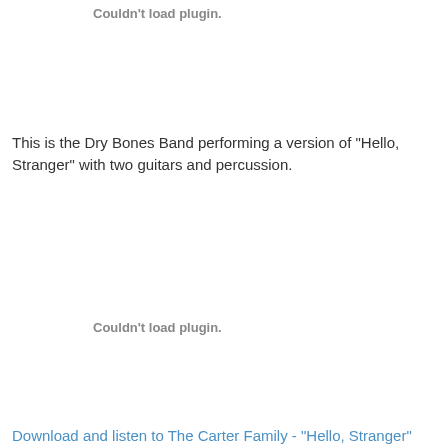Couldn't load plugin.
This is the Dry Bones Band performing a version of "Hello, Stranger" with two guitars and percussion.
Couldn't load plugin.
Download and listen to The Carter Family - "Hello, Stranger"